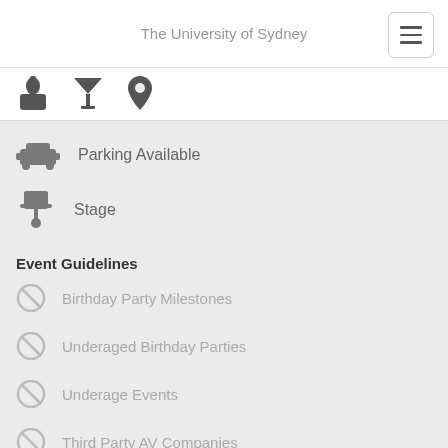The University of Sydney
[Figure (infographic): Three icons: person/attendee icon, cocktail glass icon, map pin icon]
Parking Available
Stage
Event Guidelines
Birthday Party Milestones
Underaged Birthday Parties
Underage Events
Third Party AV Companies
Alcoholic Events